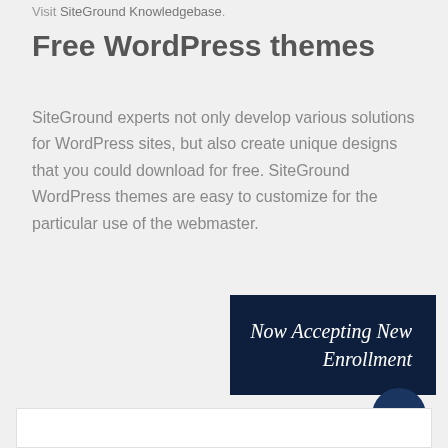Visit SiteGround Knowledgebase.
Free WordPress themes
SiteGround experts not only develop various solutions for WordPress sites, but also create unique designs that you could download for free. SiteGround WordPress themes are easy to customize for the particular use of the webmaster.
[Figure (other): Dark navy blue banner box with white italic text reading 'Now Accepting New Enrollment' aligned to the right side]
[Figure (other): Dark navy circular scroll-to-top button with an upward arrow icon]